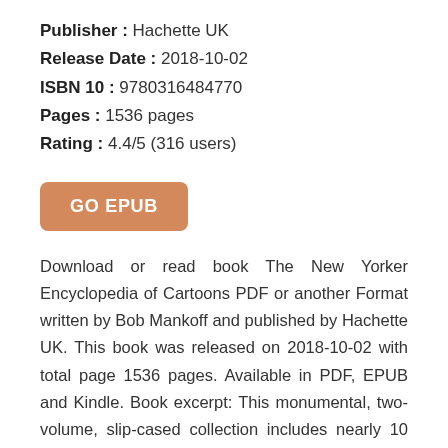Publisher : Hachette UK
Release Date : 2018-10-02
ISBN 10 : 9780316484770
Pages : 1536 pages
Rating : 4.4/5 (316 users)
[Figure (other): GO EPUB button — an orange rounded-rectangle button with white bold text reading GO EPUB]
Download or read book The New Yorker Encyclopedia of Cartoons PDF or another Format written by Bob Mankoff and published by Hachette UK. This book was released on 2018-10-02 with total page 1536 pages. Available in PDF, EPUB and Kindle. Book excerpt: This monumental, two-volume, slip-cased collection includes nearly 10 decades